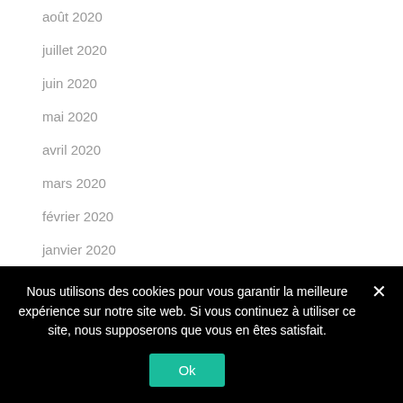août 2020
juillet 2020
juin 2020
mai 2020
avril 2020
mars 2020
février 2020
janvier 2020
décembre 2019
novembre 2019
octobre 2019
Nous utilisons des cookies pour vous garantir la meilleure expérience sur notre site web. Si vous continuez à utiliser ce site, nous supposerons que vous en êtes satisfait.
Ok